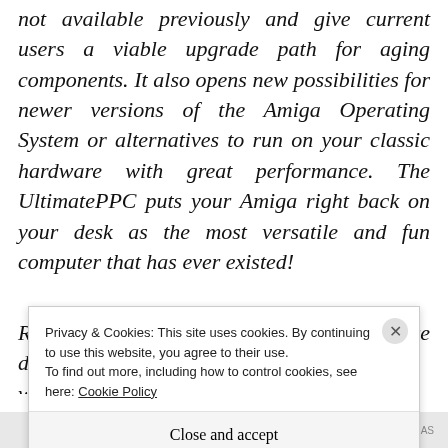not available previously and give current users a viable upgrade path for aging components. It also opens new possibilities for newer versions of the Amiga Operating System or alternatives to run on your classic hardware with great performance. The UltimatePPC puts your Amiga right back on your desk as the most versatile and fun computer that has ever existed!
Right now the UltimatePPC is in active development, which means there will be a number of...
Privacy & Cookies: This site uses cookies. By continuing to use this website, you agree to their use. To find out more, including how to control cookies, see here: Cookie Policy
Close and accept